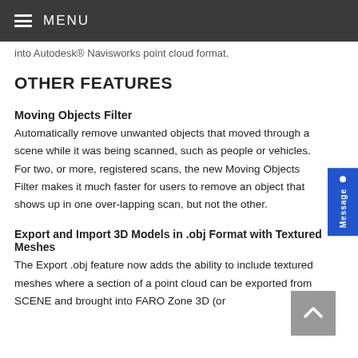MENU
into Autodesk® Navisworks point cloud format.
OTHER FEATURES
Moving Objects Filter
Automatically remove unwanted objects that moved through a scene while it was being scanned, such as people or vehicles. For two, or more, registered scans, the new Moving Objects Filter makes it much faster for users to remove an object that shows up in one over-lapping scan, but not the other.
Export and Import 3D Models in .obj Format with Textured Meshes
The Export .obj feature now adds the ability to include textured meshes where a section of a point cloud can be exported from SCENE and brought into FARO Zone 3D (or